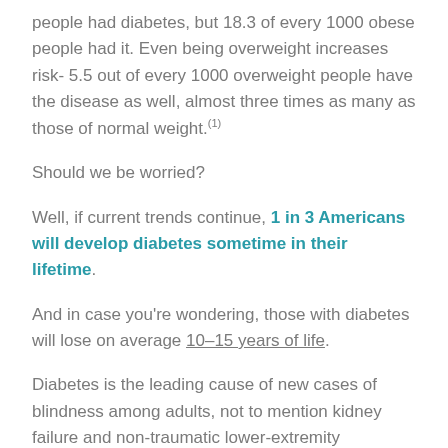people had diabetes, but 18.3 of every 1000 obese people had it. Even being overweight increases risk- 5.5 out of every 1000 overweight people have the disease as well, almost three times as many as those of normal weight.(1)
Should we be worried?
Well, if current trends continue, 1 in 3 Americans will develop diabetes sometime in their lifetime.
And in case you're wondering, those with diabetes will lose on average 10-15 years of life.
Diabetes is the leading cause of new cases of blindness among adults, not to mention kidney failure and non-traumatic lower-extremity